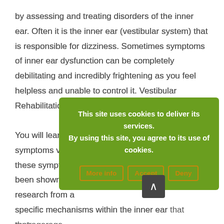by assessing and treating disorders of the inner ear. Often it is the inner ear (vestibular system) that is responsible for dizziness. Sometimes symptoms of inner ear dysfunction can be completely debilitating and incredibly frightening as you feel helpless and unable to control it. Vestibular Rehabilitation gives you that control back.

You will learn str... symptoms volu... these symptoms... been shown to b... research from a... specific mechanisms within the inner ear that encourage resolution of any imbalance that might be present. Usually
[Figure (screenshot): Cookie consent overlay on a green background with text 'This site uses cookies to deliver its services. By using this site, you agree to its use of cookies.' and three buttons: More info, Accept, Deny. A dark scroll-to-top button is visible below.]